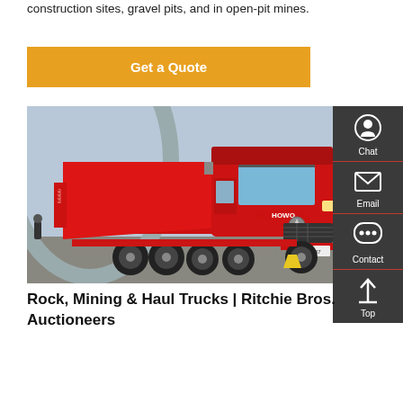construction sites, gravel pits, and in open-pit mines.
Get a Quote
[Figure (photo): A red HOWO dump truck (haul truck) parked at what appears to be a trade show or outdoor venue, with other white trucks and a curved modern building visible in the background. A yellow wheel chock is visible under the front wheel. The truck license plate reads HOW07.]
Rock, Mining & Haul Trucks | Ritchie Bros. Auctioneers